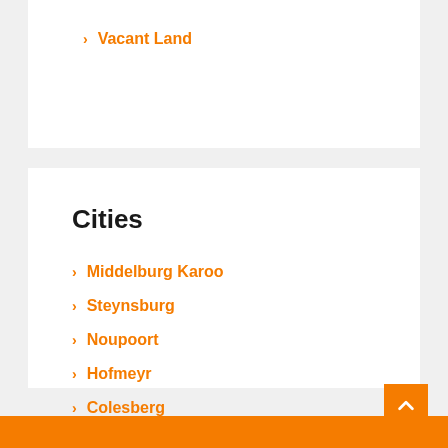Vacant Land
Cities
Middelburg Karoo
Steynsburg
Noupoort
Hofmeyr
Colesberg